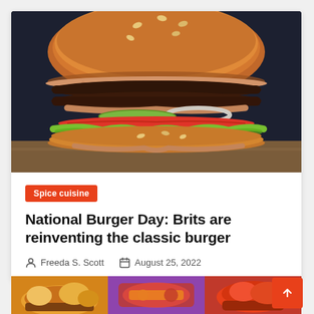[Figure (photo): Close-up photo of a large double cheeseburger with sesame seed bun, two beef patties, cheese, sauce, pickles, onion rings, tomato, and lettuce on a dark background.]
Spice cuisine
National Burger Day: Brits are reinventing the classic burger
Freeda S. Scott   August 25, 2022
[Figure (photo): Three small thumbnail food photos at the bottom of the page.]